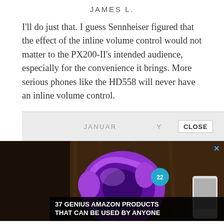JAMES L.
I'll do just that. I guess Sennheiser figured that the effect of the inline volume control would not matter to the PX200-II's intended audience, especially for the convenience it brings. More serious phones like the HD558 will never have an inline volume control.
JANUARY
[Figure (photo): Advertisement showing purple headphones on a wooden surface with a smartphone, badge with number 22, and overlay text '37 GENIUS AMAZON PRODUCTS THAT CAN BE USED BY ANYONE']